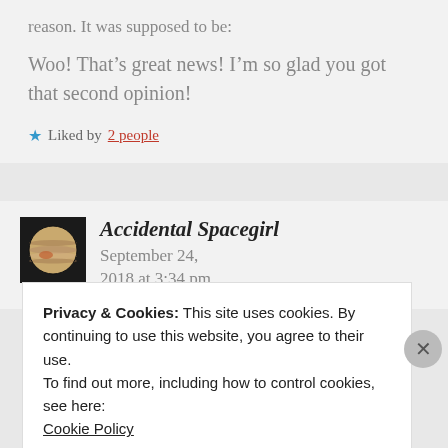reason. It was supposed to be:
Woo! That's great news! I'm so glad you got that second opinion!
★ Liked by 2 people
Accidental Spacegirl   September 24, 2018 at 3:34 pm
Privacy & Cookies: This site uses cookies. By continuing to use this website, you agree to their use.
To find out more, including how to control cookies, see here:
Cookie Policy
Close and accept